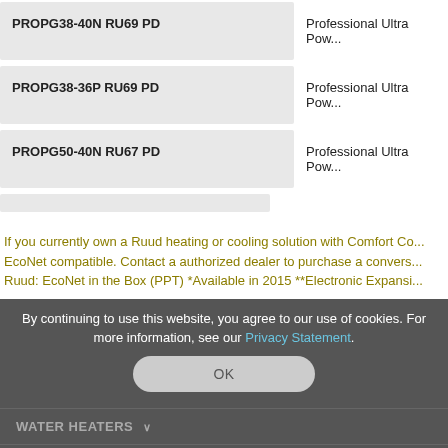| Model | Description |
| --- | --- |
| PROPG38-40N RU69 PD | Professional Ultra Pow... |
| PROPG38-36P RU69 PD | Professional Ultra Pow... |
| PROPG50-40N RU67 PD | Professional Ultra Pow... |
|  |  |
If you currently own a Ruud heating or cooling solution with Comfort Co... EcoNet compatible. Contact a authorized dealer to purchase a convers... Ruud: EcoNet in the Box (PPT) *Available in 2015 **Electronic Expansi...
By continuing to use this website, you agree to our use of cookies. For more information, see our Privacy Statement.
OK
WATER HEATERS
HVAC SYSTEMS
BUY & INSTALL